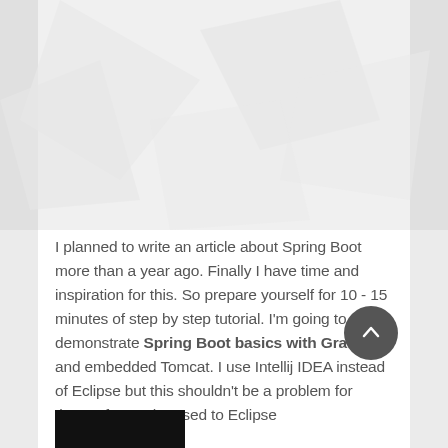[Figure (illustration): Light gray decorative background area with subtle geometric/polygon shapes at the top of the page, with darker gray sidebars on left and right]
I planned to write an article about Spring Boot more than a year ago. Finally I have time and inspiration for this. So prepare yourself for 10 - 15 minutes of step by step tutorial. I'm going to demonstrate Spring Boot basics with Gradle and embedded Tomcat. I use Intellij IDEA instead of Eclipse but this shouldn't be a problem for those of you who used to Eclipse